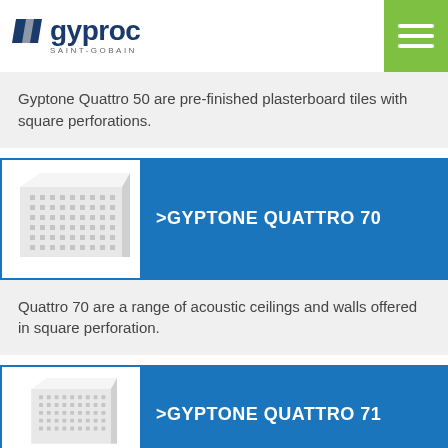[Figure (logo): Gyproc Saint-Gobain logo with blue parallelogram icon and hamburger menu button on green background]
Gyptone Quattro 50 are pre-finished plasterboard tiles with square perforations.
[Figure (photo): White perforated plasterboard tile panel shown at an angle]
>GYPTONE QUATTRO 70
Quattro 70 are a range of acoustic ceilings and walls offered in square perforation.
[Figure (photo): White perforated plasterboard tile panel shown at an angle]
>GYPTONE QUATTRO 71